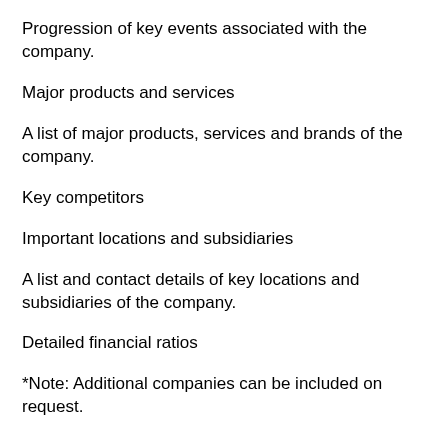Progression of key events associated with the company.
Major products and services
A list of major products, services and brands of the company.
Key competitors
Important locations and subsidiaries
A list and contact details of key locations and subsidiaries of the company.
Detailed financial ratios
*Note: Additional companies can be included on request.